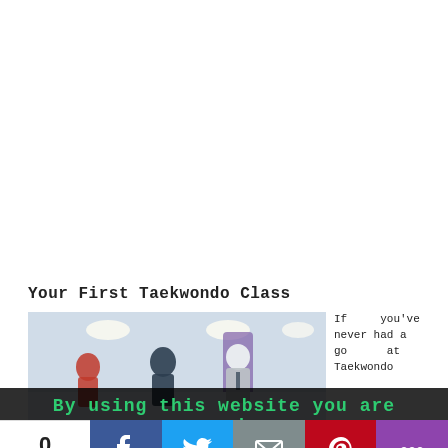Your First Taekwondo Class
[Figure (photo): Indoor photo of a Taekwondo class with people in a gym/dojo, overhead lighting, purple accent column visible in background]
If you've never had a go at Taekwondo
By using this website you are agreeing
0
SHARES